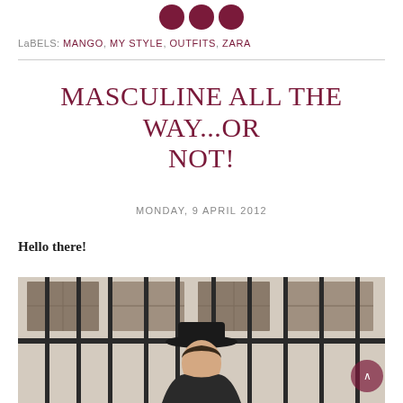[Figure (logo): Three dark red/maroon circles in a row at the top of the page, representing social media icons or blog logo elements]
LaBELS: mango, my style, outfits, zara
MASCULINE ALL THE WAY...OR NOT!
MONDAY, 9 APRIL 2012
Hello there!
[Figure (photo): A woman wearing a dark fedora hat and dark jacket standing in front of a building with large metal bars/gates visible. The background shows a stone building facade with windows.]